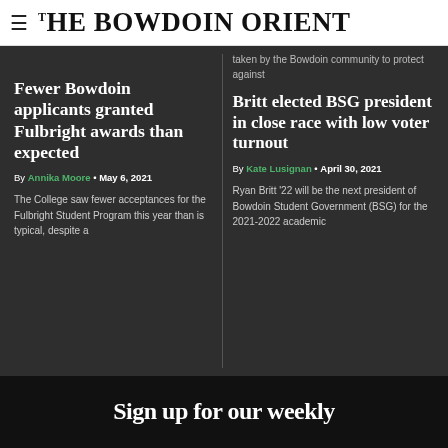THE BOWDOIN ORIENT
taken by the Bowdoin community to protect against
Fewer Bowdoin applicants granted Fulbright awards than expected
By Annika Moore • May 6, 2021
The College saw fewer acceptances for the Fulbright Student Program this year than is typical, despite a
Britt elected BSG president in close race with low voter turnout
By Kate Lusignan • April 30, 2021
Ryan Britt '22 will be the next president of Bowdoin Student Government (BSG) for the 2021-2022 academic
Sign up for our weekly